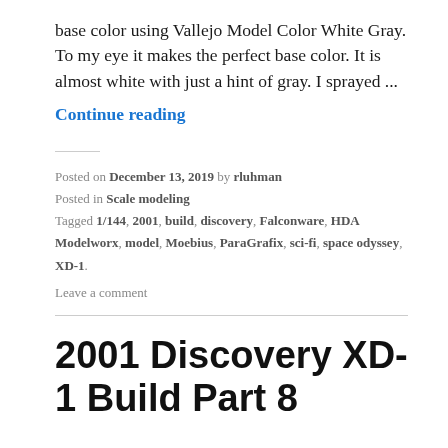base color using Vallejo Model Color White Gray.  To my eye it makes the perfect base color.  It is almost white with just a hint of gray.  I sprayed ...
Continue reading
Posted on December 13, 2019 by rluhman
Posted in Scale modeling
Tagged 1/144, 2001, build, discovery, Falconware, HDA Modelworx, model, Moebius, ParaGrafix, sci-fi, space odyssey, XD-1.
Leave a comment
2001 Discovery XD-1 Build Part 8
I didn't get as much done this week as I wanted.  The holidays tend to do that.  But there was